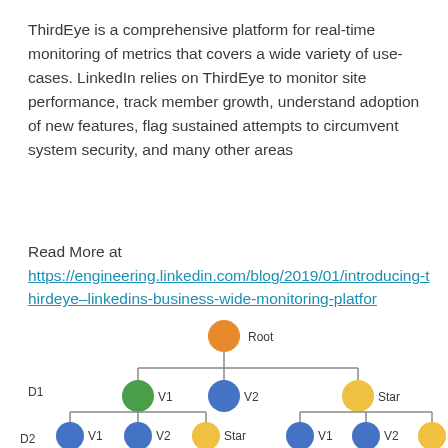ThirdEye is a comprehensive platform for real-time monitoring of metrics that covers a wide variety of use-cases. LinkedIn relies on ThirdEye to monitor site performance, track member growth, understand adoption of new features, flag sustained attempts to circumvent system security, and many other areas
Read More at
https://engineering.linkedin.com/blog/2019/01/introducing-thirdeye–linkedins-business-wide-monitoring-platfor
[Figure (organizational-chart): Hierarchical tree diagram showing Root node at top (orange circle), branching to D1 level with V1 (green circle) and V2 (blue circle) and Star (yellow circle) nodes, then D2 level with V1 (blue), V2 (blue), Star (yellow) under left branch and V1 (blue), V2 (blue), Star (yellow) under right branch.]